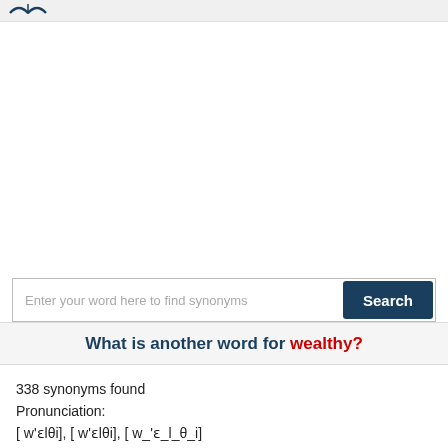[Figure (other): Thesaurus website logo with open book icon at top left of header bar]
Enter your word here to find synonyms
What is another word for wealthy?
338 synonyms found
Pronunciation:
[ w'ɛlθi], [ w'ɛlθi], [ w_'ɛ_l_θ_i]